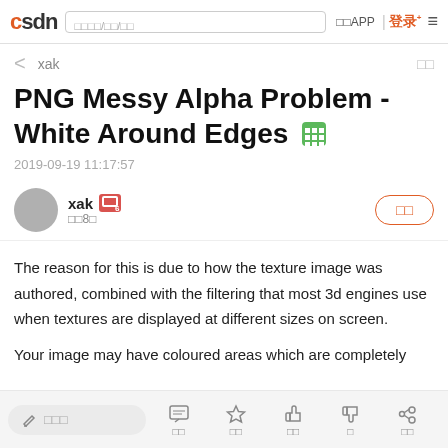CSDN | 搜索/标签/博客 | 下载APP | 登录
< xak
PNG Messy Alpha Problem - White Around Edges
2019-09-19 11:17:57
xak 等级8 关注
The reason for this is due to how the texture image was authored, combined with the filtering that most 3d engines use when textures are displayed at different sizes on screen.
Your image may have coloured areas which are completely